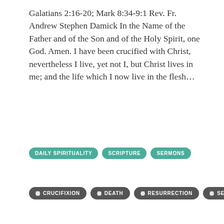Galatians 2:16-20; Mark 8:34-9:1 Rev. Fr. Andrew Stephen Damick In the Name of the Father and of the Son and of the Holy Spirit, one God. Amen. I have been crucified with Christ, nevertheless I live, yet not I, but Christ lives in me; and the life which I now live in the flesh…
DAILY SPIRITUALITY
SCRIPTURE
SERMONS
CRUCIFIXION
DEATH
RESURRECTION
SERMONS
Thomas Sunday: Death, Resurrection and Daily Life
April 19, 2015 · Fr. Andrew Stephen Damick
[Figure (photo): Partial view of a religious/icon image visible at the bottom of the page]